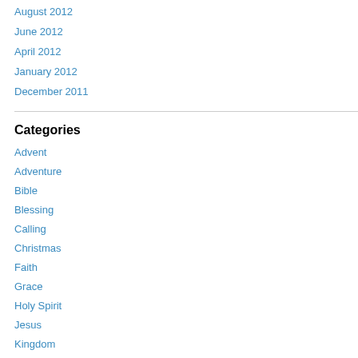August 2012
June 2012
April 2012
January 2012
December 2011
Categories
Advent
Adventure
Bible
Blessing
Calling
Christmas
Faith
Grace
Holy Spirit
Jesus
Kingdom